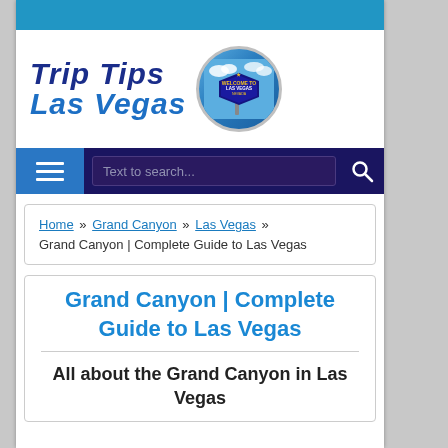[Figure (logo): Trip Tips Las Vegas logo with text and circular Las Vegas sign badge]
[Figure (screenshot): Navigation bar with hamburger menu, search box reading 'Text to search...', and search icon]
Home » Grand Canyon » Las Vegas » Grand Canyon | Complete Guide to Las Vegas
Grand Canyon | Complete Guide to Las Vegas
All about the Grand Canyon in Las Vegas